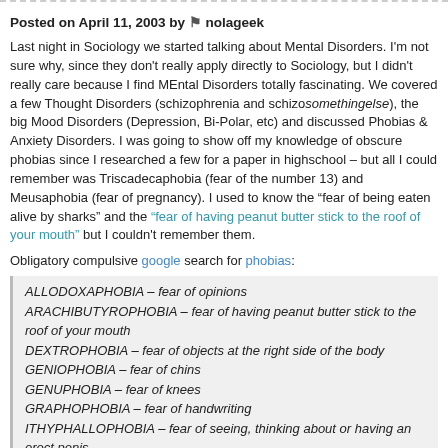Posted on April 11, 2003 by nolageek
Last night in Sociology we started talking about Mental Disorders. I'm not sure why, since they don't really apply directly to Sociology, but I didn't really care because I find MEntal Disorders totally fascinating. We covered a few Thought Disorders (schizophrenia and schizosomethingelse), the big Mood Disorders (Depression, Bi-Polar, etc) and discussed Phobias & Anxiety Disorders. I was going to show off my knowledge of obscure phobias since I researched a few for a paper in highschool – but all I could remember was Triscadecaphobia (fear of the number 13) and Meusaphobia (fear of pregnancy). I used to know the "fear of being eaten alive by sharks" and the "fear of having peanut butter stick to the roof of your mouth" but I couldn't remember them.
Obligatory compulsive google search for phobias:
ALLODOXAPHOBIA – fear of opinions
ARACHIBUTYROPHOBIA – fear of having peanut butter stick to the roof of your mouth
DEXTROPHOBIA – fear of objects at the right side of the body
GENIOPHOBIA – fear of chins
GENUPHOBIA – fear of knees
GRAPHOPHOBIA – fear of handwriting
ITHYPHALLOPHOBIA – fear of seeing, thinking about or having an erect penis